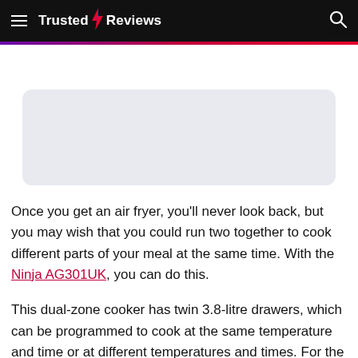Trusted Reviews
[Figure (other): Light grey rounded rectangle placeholder image area]
Once you get an air fryer, you'll never look back, but you may wish that you could run two together to cook different parts of your meal at the same time. With the Ninja AG301UK, you can do this.
This dual-zone cooker has twin 3.8-litre drawers, which can be programmed to cook at the same temperature and time or at different temperatures and times. For the latter, the sync option sets the air fryer to automatically finish